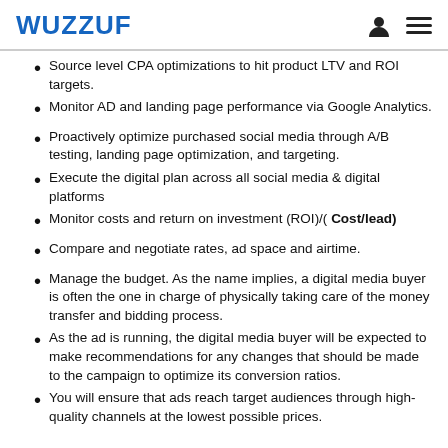WUZZUF
Source level CPA optimizations to hit product LTV and ROI targets.
Monitor AD and landing page performance via Google Analytics.
Proactively optimize purchased social media through A/B testing, landing page optimization, and targeting.
Execute the digital plan across all social media & digital platforms
Monitor costs and return on investment (ROI)/( Cost/lead)
Compare and negotiate rates, ad space and airtime.
Manage the budget. As the name implies, a digital media buyer is often the one in charge of physically taking care of the money transfer and bidding process.
As the ad is running, the digital media buyer will be expected to make recommendations for any changes that should be made to the campaign to optimize its conversion ratios.
You will ensure that ads reach target audiences through high-quality channels at the lowest possible prices.